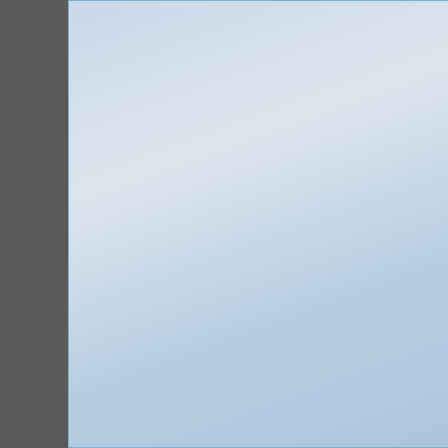Additional Services O
Addiction Treatment P
Specialty Progra
Persons With Co-Occurring
Substance Abuse Dis
Criminal Justice Cl
1748 H
Looking G
Sub
Additional Services O
Detoxification
Specialty Progra
Adolescents
Persons With Co-Occurring
Substance Abuse Dis
Gays And Lesbia
Seniors/Older Ad